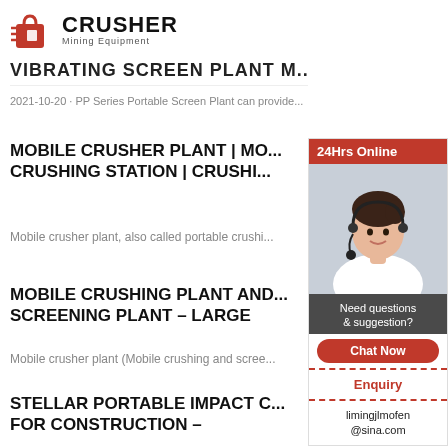[Figure (logo): Crusher Mining Equipment logo with red shopping bag icon and bold CRUSHER text]
VIBRATING SCREEN PLANT M...
2021-10-20 · PP Series Portable Screen Plant can provide...
MOBILE CRUSHER PLANT | MOBILE CRUSHING STATION | CRUSHING...
Mobile crusher plant, also called portable crushi...
MOBILE CRUSHING PLANT AND SCREENING PLANT – LARGE
Mobile crusher plant (Mobile crushing and scree...
STELLAR PORTABLE IMPACT C... FOR CONSTRUCTION –
[Figure (photo): 24Hrs Online sidebar with photo of woman with headset, customer service panel with Chat Now button, Enquiry link, and limingjlmofen@sina.com email]